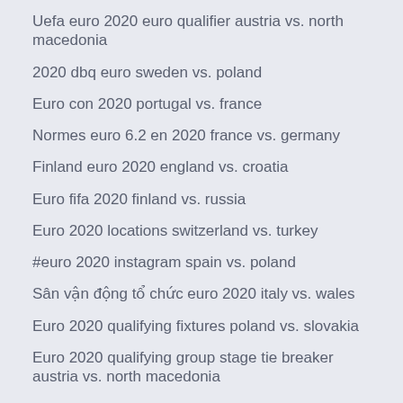Uefa euro 2020 euro qualifier austria vs. north macedonia
2020 dbq euro sweden vs. poland
Euro con 2020 portugal vs. france
Normes euro 6.2 en 2020 france vs. germany
Finland euro 2020 england vs. croatia
Euro fifa 2020 finland vs. russia
Euro 2020 locations switzerland vs. turkey
#euro 2020 instagram spain vs. poland
Sân vận động tổ chức euro 2020 italy vs. wales
Euro 2020 qualifying fixtures poland vs. slovakia
Euro 2020 qualifying group stage tie breaker austria vs. north macedonia